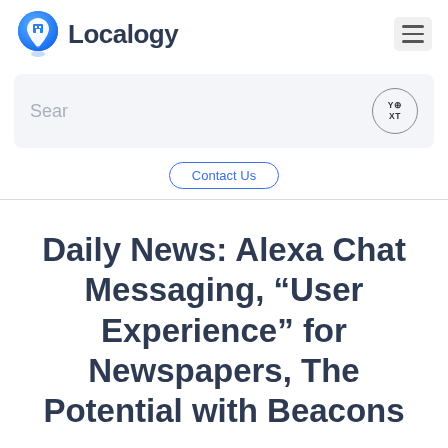[Figure (logo): Localogy logo with blue location pin icon and text 'Localogy' in dark navy]
[Figure (screenshot): Search bar with placeholder text 'Sear' and Yext logo circle on right]
Contact Us
Daily News: Alexa Chat Messaging, “User Experience” for Newspapers, The Potential with Beacons